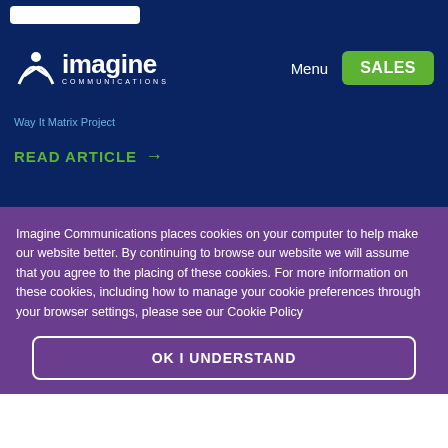Imagine Communications — Menu | SALES
Way It Matrix Project
READ ARTICLE →
Imagine Communications places cookies on your computer to help make our website better. By continuing to browse our website we will assume that you agree to the placing of these cookies. For more information on these cookies, including how to manage your cookie preferences through your browser settings, please see our Cookie Policy
OK I UNDERSTAND